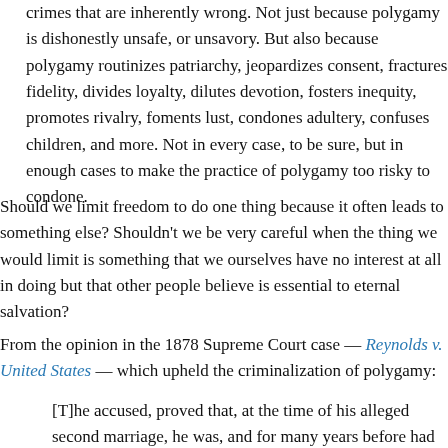crimes that are inherently wrong. Not just because polygamy is dishonest, unsafe, or unsavory. But also because polygamy routinizes patriarchy, jeopardizes consent, fractures fidelity, divides loyalty, dilutes devotion, fosters inequity, promotes rivalry, foments lust, condones adultery, confuses children, and more. Not in every case, to be sure, but in enough cases to make the practice of polygamy too risky to condone.
Should we limit freedom to do one thing because it often leads to something else? Shouldn't we be very careful when the thing we would limit is something that we ourselves have no interest at all in doing but that other people believe is essential to eternal salvation?
From the opinion in the 1878 Supreme Court case — Reynolds v. United States — which upheld the criminalization of polygamy:
[T]he accused, proved that, at the time of his alleged second marriage, he was, and for many years before had been, a member of the Church of Jesus Christ of Latter Day Saints, commonly called the Mormon Church, and a believer in its doctrines; that it was an accepted doctrine of that church "that it was the duty of male members of said church, circumstances permitting, to practise polygamy; and that this duty was enjoined by different books which the members of said church believed to be of divine origin, and among others, the Holy Bible...